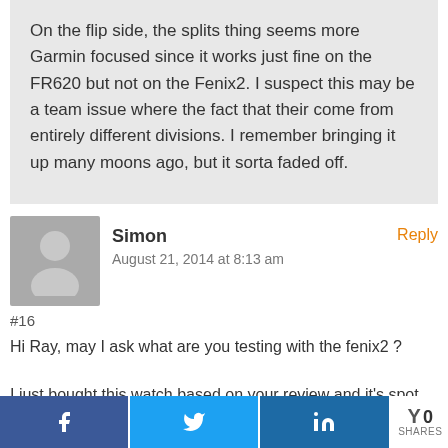On the flip side, the splits thing seems more Garmin focused since it works just fine on the FR620 but not on the Fenix2. I suspect this may be a team issue where the fact that their come from entirely different divisions. I remember bringing it up many moons ago, but it sorta faded off.
Simon
August 21, 2014 at 8:13 am
Reply
#16
Hi Ray, may I ask what are you testing with the fenix2 ?

I just bought this watch based on your review and it's spot on 😬